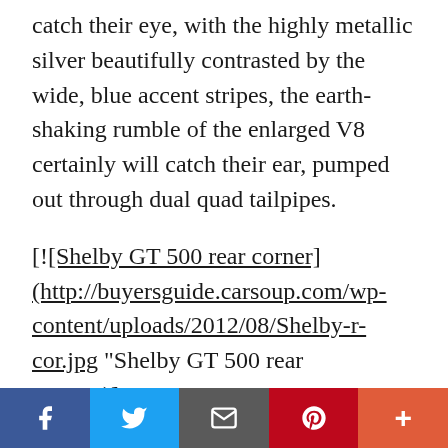catch their eye, with the highly metallic silver beautifully contrasted by the wide, blue accent stripes, the earth-shaking rumble of the enlarged V8 certainly will catch their ear, pumped out through dual quad tailpipes.
[![Shelby GT 500 rear corner](http://buyersguide.carsoup.com/wp-content/uploads/2012/08/Shelby-r-cor.jpg "Shelby GT 500 rear corner")](http://buyersguide.carsoup.com/wp-content/uploads/2012/08/Shelby-r-
Facebook | Twitter | Email | Pinterest | More